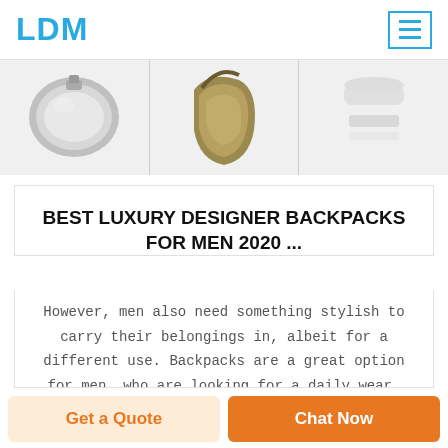LDM
[Figure (photo): Three product images in a horizontal strip: a silver metallic lunch box/flask on the left, a gold/olive-colored bag or container in the center, and a white cylindrical container on the right.]
BEST LUXURY DESIGNER BACKPACKS FOR MEN 2020 ...
However, men also need something stylish to carry their belongings in, albeit for a different use. Backpacks are a great option for men, who are looking for a daily wear, or something for business and/or leisure travel. There are a whole host of